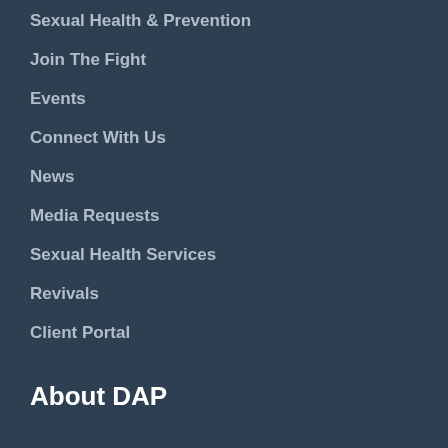Sexual Health & Prevention
Join The Fight
Events
Connect With Us
News
Media Requests
Sexual Health Services
Revivals
Client Portal
About DAP
About Us